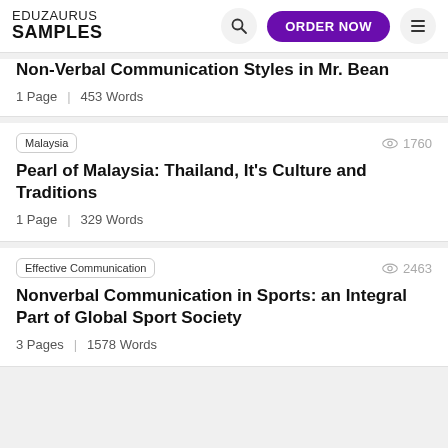EDUZAURUS SAMPLES | ORDER NOW
Non-Verbal Communication Styles in Mr. Bean
1 Page | 453 Words
Malaysia | 1760 views
Pearl of Malaysia: Thailand, It's Culture and Traditions
1 Page | 329 Words
Effective Communication | 2463 views
Nonverbal Communication in Sports: an Integral Part of Global Sport Society
3 Pages | 1578 Words